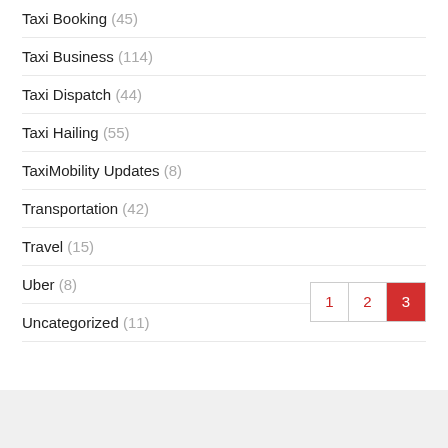Taxi Booking (45)
Taxi Business (114)
Taxi Dispatch (44)
Taxi Hailing (55)
TaxiMobility Updates (8)
Transportation (42)
Travel (15)
Uber (8)
Uncategorized (11)
1 2 3